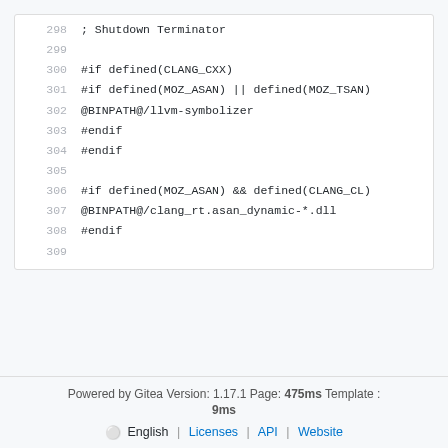[Figure (screenshot): Code block showing lines 298-309 of a configuration file with preprocessor directives for CLANG_CXX, MOZ_ASAN, MOZ_TSAN, and CLANG_CL]
Powered by Gitea Version: 1.17.1 Page: 475ms Template : 9ms English | Licenses | API | Website